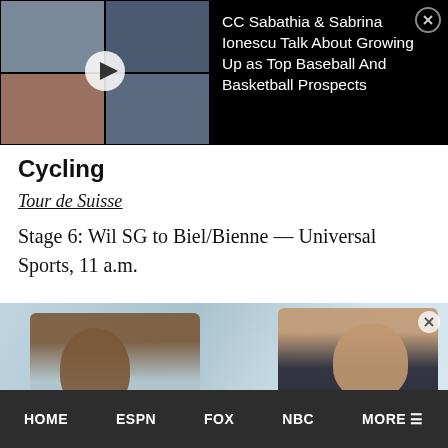[Figure (screenshot): Video thumbnail showing a multi-person video call with a play button overlay, alongside text about CC Sabathia & Sabrina Ionescu talking about growing up as top baseball and basketball prospects. Close button (X) in top-right corner.]
Cycling
Tour de Suisse
Stage 6: Wil SG to Biel/Bienne — Universal Sports, 11 a.m.
[Figure (photo): Photo of two women at what appears to be a reception desk or office environment, one with curly dark hair and glasses smiling, the other with wavy light hair wearing a dark blazer. A small close/X button is visible in the upper right of the image.]
HOME   ESPN   FOX   NBC   MORE ≡